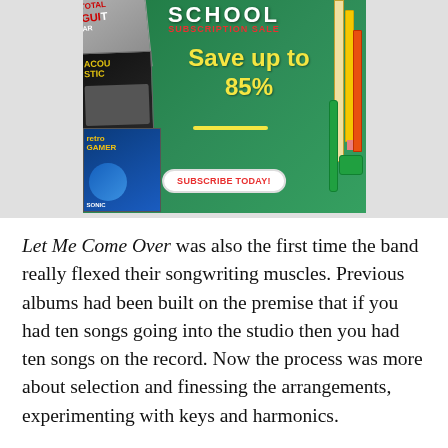[Figure (advertisement): School subscription sale advertisement with green chalkboard background showing 'Save up to 85%' in yellow handwritten text, magazine covers on the left (Total Guitar, Retro Gamer), school supplies (pencils, ruler, scissors) on the right, and a 'SUBSCRIBE TODAY!' button.]
Let Me Come Over was also the first time the band really flexed their songwriting muscles. Previous albums had been built on the premise that if you had ten songs going into the studio then you had ten songs on the record. Now the process was more about selection and finessing the arrangements, experimenting with keys and harmonics.